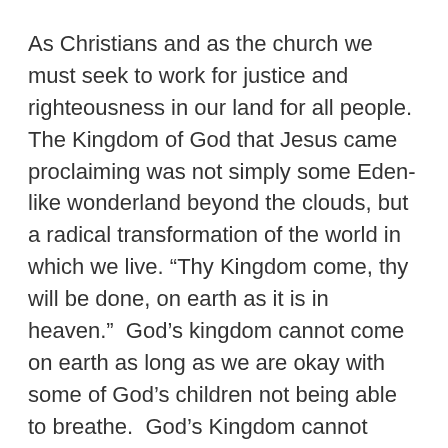As Christians and as the church we must seek to work for justice and righteousness in our land for all people.  The Kingdom of God that Jesus came proclaiming was not simply some Eden-like wonderland beyond the clouds, but a radical transformation of the world in which we live. “Thy Kingdom come, thy will be done, on earth as it is in heaven.”  God’s kingdom cannot come on earth as long as we are okay with some of God’s children not being able to breathe.  God’s Kingdom cannot come as long as we choose violence to respond to the struggles in our world.
I hope I can do better.  I hope that I will pay attention to the serpent of racism and hate that slithers around in my own life leading me to